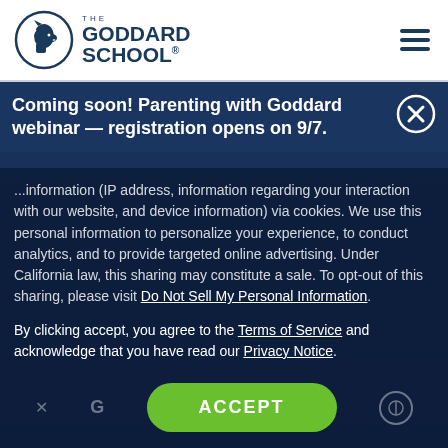[Figure (logo): The Goddard School logo - horse head in circle with text]
Coming soon! Parenting with Goddard webinar — registration opens on 9/7.
...information (IP address, information regarding your interaction with our website, and device information) via cookies. We use this personal information to personalize your experience, to conduct analytics, and to provide targeted online advertising. Under California law, this sharing may constitute a sale. To opt-out of this sharing, please visit Do Not Sell My Personal Information.
By clicking accept, you agree to the Terms of Service and acknowledge that you have read our Privacy Notice.